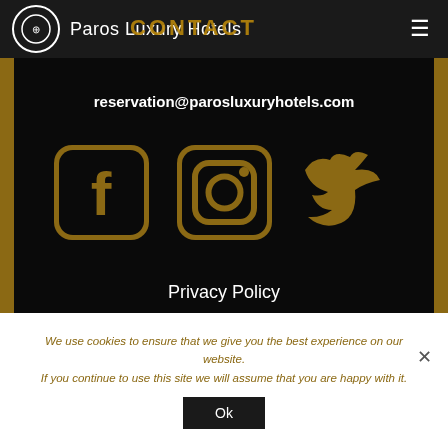Paros Luxury Hotels | CONTACT
reservation@parosluxuryhotels.com
[Figure (logo): Three social media icons in gold: Facebook, Instagram, Twitter]
Privacy Policy
© Paros Luxury Hotels
We use cookies to ensure that we give you the best experience on our website. If you continue to use this site we will assume that you are happy with it.
Ok